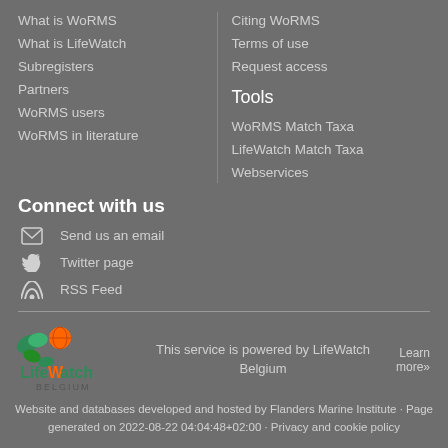What is WoRMS
What is LifeWatch
Subregisters
Partners
WoRMS users
WoRMS in literature
Citing WoRMS
Terms of use
Request access
Tools
WoRMS Match Taxa
LifeWatch Match Taxa
Webservices
Connect with us
Send us an email
Twitter page
RSS Feed
[Figure (logo): LifeWatch Belgium logo with green and orange leaf/globe icon and text]
This service is powered by LifeWatch Belgium
Learn more»
Website and databases developed and hosted by Flanders Marine Institute · Page generated on 2022-08-22 04:04:48+02:00 · Privacy and cookie policy